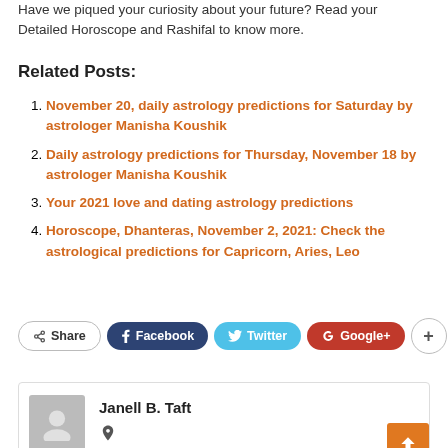Have we piqued your curiosity about your future? Read your Detailed Horoscope and Rashifal to know more.
Related Posts:
November 20, daily astrology predictions for Saturday by astrologer Manisha Koushik
Daily astrology predictions for Thursday, November 18 by astrologer Manisha Koushik
Your 2021 love and dating astrology predictions
Horoscope, Dhanteras, November 2, 2021: Check the astrological predictions for Capricorn, Aries, Leo
[Figure (infographic): Share bar with buttons: Share, Facebook, Twitter, Google+, and a plus button]
Janell B. Taft